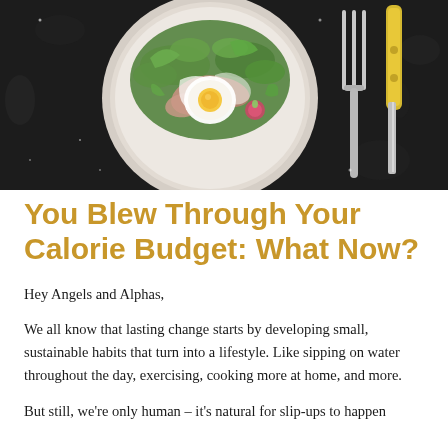[Figure (photo): Overhead shot of a gourmet plate with a fried egg, arugula salad, sliced meat, and dressing on a dark stone background with a yellow-handled knife and fork beside the plate.]
You Blew Through Your Calorie Budget: What Now?
Hey Angels and Alphas,
We all know that lasting change starts by developing small, sustainable habits that turn into a lifestyle. Like sipping on water throughout the day, exercising, cooking more at home, and more.
But still, we're only human – it's natural for slip-ups to happen